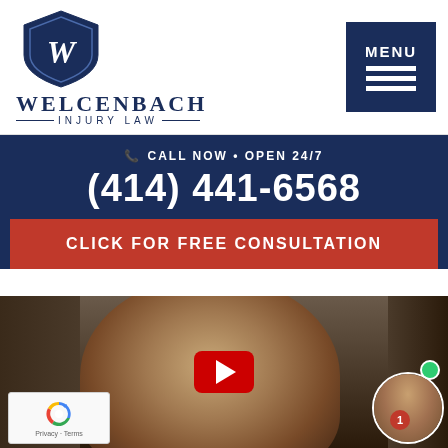[Figure (logo): Welcenbach Injury Law logo with shield bearing letter W]
WELCENBACH
INJURY LAW
[Figure (other): Dark navy menu button with MENU text and three horizontal bars]
CALL NOW • OPEN 24/7
(414) 441-6568
CLICK FOR FREE CONSULTATION
[Figure (photo): Man in suit in front of bookshelves with YouTube play button overlay, reCAPTCHA widget in lower left, and chat avatar in lower right]